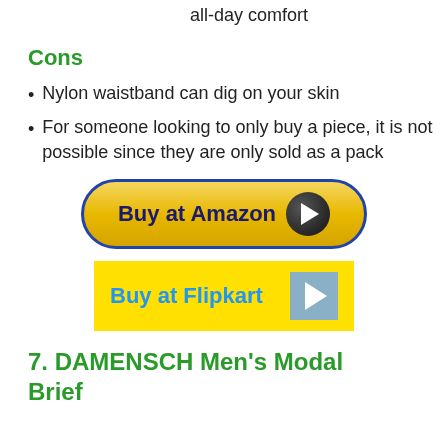all-day comfort
Cons
Nylon waistband can dig on your skin
For someone looking to only buy a piece, it is not possible since they are only sold as a pack
[Figure (other): Buy at Amazon button with yellow rounded rectangle and dark navy border, play circle icon on right]
[Figure (other): Buy at Flipkart button with yellow rectangle, cyan text, and grey play icon on right]
7. DAMENSCH Men's Modal Brief